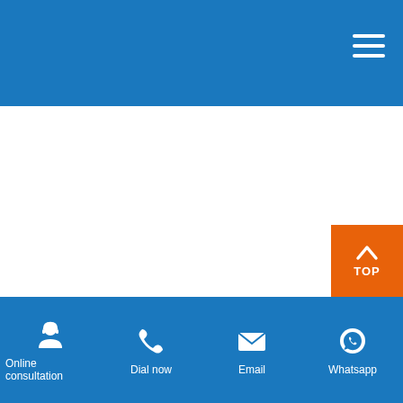Header bar with hamburger menu
ABOUT US
[Figure (screenshot): Orange TOP button with upward arrow in bottom-right corner]
Online consultation | Dial now | Email | Whatsapp